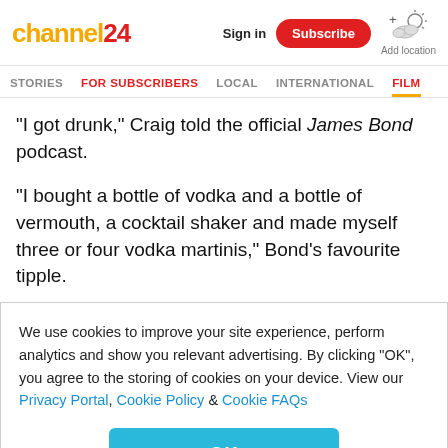channel24 — Sign in | Subscribe | Add location
STORIES | FOR SUBSCRIBERS | LOCAL | INTERNATIONAL | FILM
"I got drunk," Craig told the official James Bond podcast.
"I bought a bottle of vodka and a bottle of vermouth, a cocktail shaker and made myself three or four vodka martinis," Bond's favourite tipple.
Producer Barbara Broccoli, however, explained that Craig
We use cookies to improve your site experience, perform analytics and show you relevant advertising. By clicking "OK", you agree to the storing of cookies on your device. View our Privacy Portal, Cookie Policy & Cookie FAQs
OK